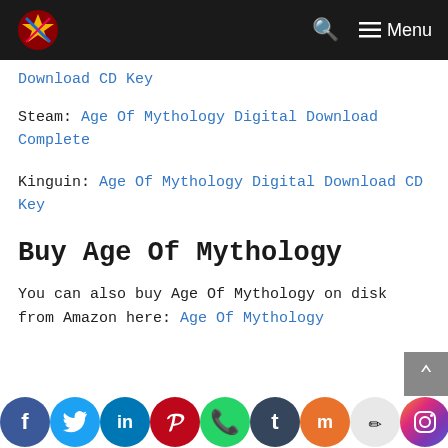Navigation bar with logo, search icon, and Menu
Download CD Key
Steam: Age Of Mythology Digital Download Complete
Kinguin: Age Of Mythology Digital Download CD Key
Buy Age Of Mythology
You can also buy Age Of Mythology on disk from Amazon here: Age Of Mythology